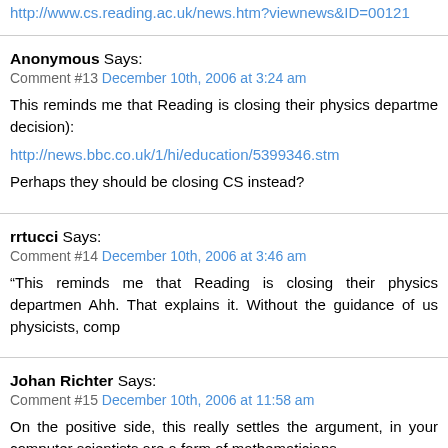http://www.cs.reading.ac.uk/news.htm?viewnews&ID=00121
Anonymous Says:
Comment #13 December 10th, 2006 at 3:24 am
This reminds me that Reading is closing their physics departme... decision):
http://news.bbc.co.uk/1/hi/education/5399346.stm
Perhaps they should be closing CS instead?
rrtucci Says:
Comment #14 December 10th, 2006 at 3:46 am
“This reminds me that Reading is closing their physics departmen...
Ahh. That explains it. Without the guidance of us physicists, comp...
Johan Richter Says:
Comment #15 December 10th, 2006 at 11:58 am
On the positive side, this really settles the argument, in your...
computer scientists are a form of mathematicians.